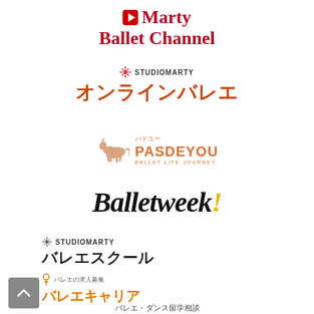[Figure (logo): Marty Ballet Channel logo with red play button icon and red serif text]
[Figure (logo): StudioMarty オンラインバレエ logo with snowflake icon and orange-red Japanese text]
[Figure (logo): PASDEYOU ballet life journey logo with horse icon and orange text]
[Figure (logo): Balletweek! logo in black italic serif with yellow exclamation mark]
[Figure (logo): StudioMarty バレエスクール logo with snowflake icon and black Japanese text]
[Figure (logo): バレエキャリア logo with key icon, small Japanese text and orange bold Japanese text]
バレエ・ダンス留学相談